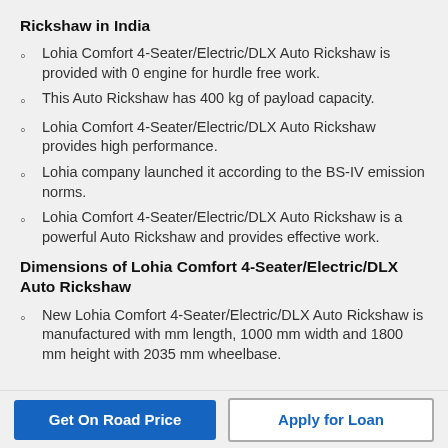Rickshaw in India
Lohia Comfort 4-Seater/Electric/DLX Auto Rickshaw is provided with 0 engine for hurdle free work.
This Auto Rickshaw has 400 kg of payload capacity.
Lohia Comfort 4-Seater/Electric/DLX Auto Rickshaw provides high performance.
Lohia company launched it according to the BS-IV emission norms.
Lohia Comfort 4-Seater/Electric/DLX Auto Rickshaw is a powerful Auto Rickshaw and provides effective work.
Dimensions of Lohia Comfort 4-Seater/Electric/DLX Auto Rickshaw
New Lohia Comfort 4-Seater/Electric/DLX Auto Rickshaw is manufactured with mm length, 1000 mm width and 1800 mm height with 2035 mm wheelbase.
Get On Road Price
Apply for Loan